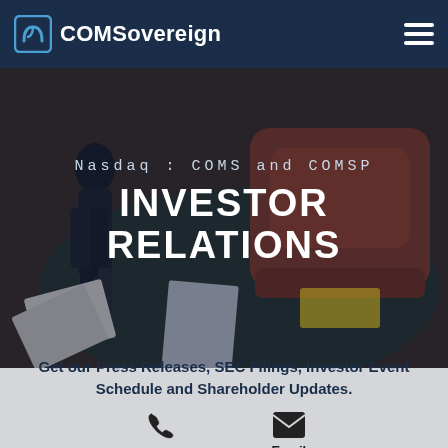COMSovereign
[Figure (photo): Aerial view of business professionals in a meeting, with documents and a tablet on the floor, with overlay text 'Nasdaq : COMS and COMSP' and 'INVESTOR RELATIONS']
Nasdaq : COMS and COMSP
INVESTOR RELATIONS
Get our Press Releases, SEC Filings, Investor Event Schedule and Shareholder Updates.
Phone
Email